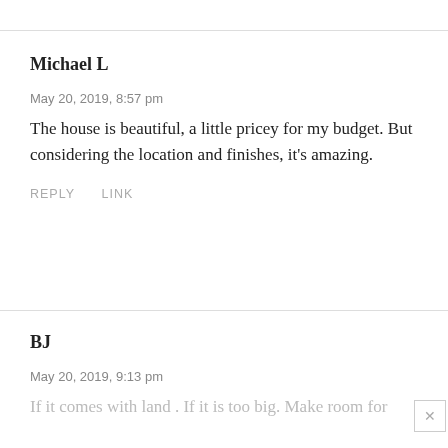Michael L
May 20, 2019, 8:57 pm
The house is beautiful, a little pricey for my budget. But considering the location and finishes, it's amazing.
REPLY   LINK
BJ
May 20, 2019, 9:13 pm
If it comes with land . If it is too big. Make room for